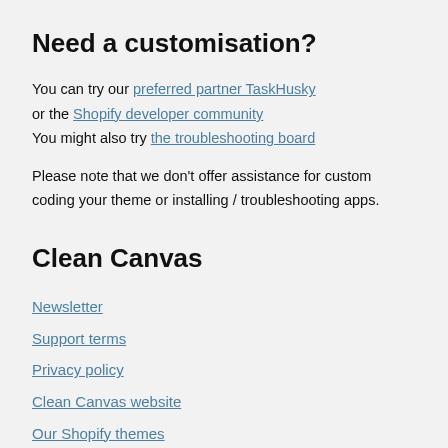Need a customisation?
You can try our preferred partner TaskHusky or the Shopify developer community
You might also try the troubleshooting board
Please note that we don't offer assistance for custom coding your theme or installing / troubleshooting apps.
Clean Canvas
Newsletter
Support terms
Privacy policy
Clean Canvas website
Our Shopify themes
Useful links